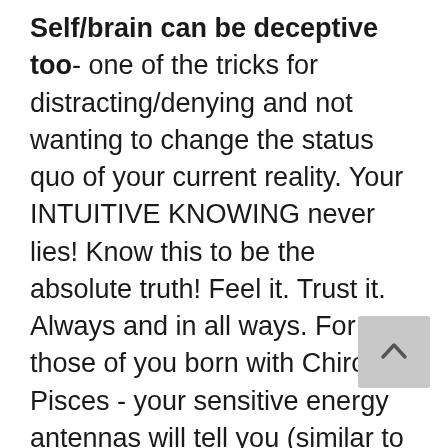Self/brain can be deceptive too- one of the tricks for distracting/denying and not wanting to change the status quo of your current reality. Your INTUITIVE KNOWING never lies! Know this to be the absolute truth! Feel it. Trust it. Always and in all ways. For those of you born with Chiron in Pisces - your sensitive energy antennas will tell you (similar to those with Sun/Moon/Rising Sign in Scorpio) via the body language - the lips say one thing yet the physical body tells a whole other story! LISTEN with more than your ears...TRUST you know your Inner Truth. And act accordingly